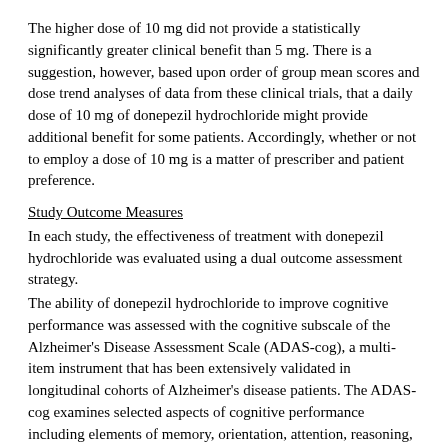The higher dose of 10 mg did not provide a statistically significantly greater clinical benefit than 5 mg. There is a suggestion, however, based upon order of group mean scores and dose trend analyses of data from these clinical trials, that a daily dose of 10 mg of donepezil hydrochloride might provide additional benefit for some patients. Accordingly, whether or not to employ a dose of 10 mg is a matter of prescriber and patient preference.
Study Outcome Measures
In each study, the effectiveness of treatment with donepezil hydrochloride was evaluated using a dual outcome assessment strategy.
The ability of donepezil hydrochloride to improve cognitive performance was assessed with the cognitive subscale of the Alzheimer's Disease Assessment Scale (ADAS-cog), a multi-item instrument that has been extensively validated in longitudinal cohorts of Alzheimer's disease patients. The ADAS-cog examines selected aspects of cognitive performance including elements of memory, orientation, attention, reasoning, language and praxis. The ADAS-cog scoring range is from 0 to 70, with higher scores indicating greater cognitive impairment. Elderly normal adults may score as low as 0 or 1, but it is not unusual for non-demented adults to score slightly higher.
The patients recruited as participants in each study had mean